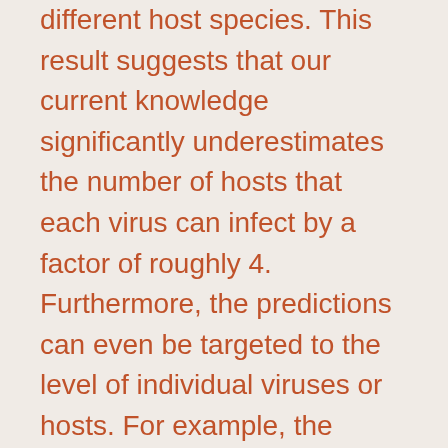different host species. This result suggests that our current knowledge significantly underestimates the number of hosts that each virus can infect by a factor of roughly 4. Furthermore, the predictions can even be targeted to the level of individual viruses or hosts. For example, the algorithm identified 44 possible novel associations between bats and Filoviruses, the group that includes Ebola and other viruses causing hemorrhagic fevers. Similarly, applying this tool to other viruses suggested numerous potential virus interactions with hosts that have not yet been